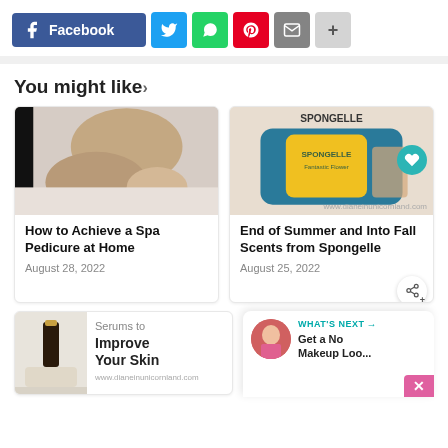[Figure (screenshot): Social share bar with Facebook, Twitter, WhatsApp, Pinterest, Email, and More buttons]
[Figure (screenshot): Two article cards: 'How to Achieve a Spa Pedicure at Home' (August 28, 2022) and 'End of Summer and Into Fall Scents from Spongelle' (August 25, 2022)]
You might like›
[Figure (photo): Spa pedicure image showing legs and hands]
How to Achieve a Spa Pedicure at Home
August 28, 2022
[Figure (photo): Spongelle product image with yellow package]
End of Summer and Into Fall Scents from Spongelle
August 25, 2022
[Figure (screenshot): Partial bottom card showing serums to improve your skin article with a bottle image]
Serums to Improve Your Skin
WHAT'S NEXT → Get a No Makeup Loo...